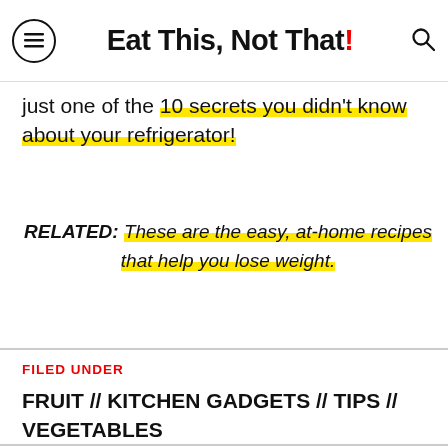Eat This, Not That!
just one of the 10 secrets you didn't know about your refrigerator!
RELATED: These are the easy, at-home recipes that help you lose weight.
FILED UNDER
FRUIT // KITCHEN GADGETS // TIPS // VEGETABLES